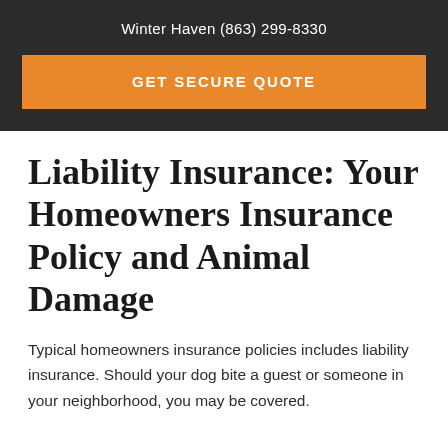Winter Haven (863) 299-8330
GET SECURE QUOTE
Liability Insurance: Your Homeowners Insurance Policy and Animal Damage
Typical homeowners insurance policies includes liability insurance. Should your dog bite a guest or someone in your neighborhood, you may be covered.